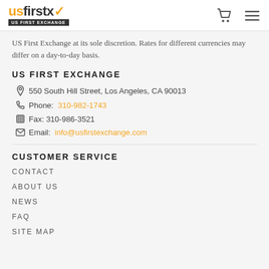usfirstx US FIRST EXCHANGE
US First Exchange at its sole discretion. Rates for different currencies may differ on a day-to-day basis.
US FIRST EXCHANGE
550 South Hill Street, Los Angeles, CA 90013
Phone: 310-982-1743
Fax: 310-986-3521
Email: info@usfirstexchange.com
CUSTOMER SERVICE
CONTACT
ABOUT US
NEWS
FAQ
SITE MAP